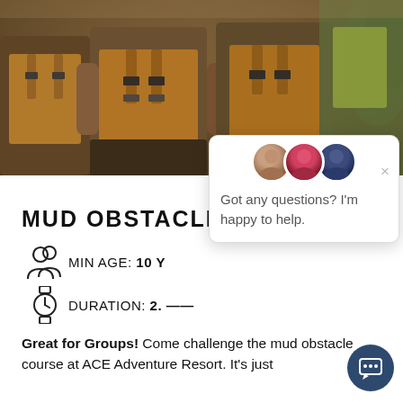[Figure (photo): Group of people wearing orange/brown mud-covered life vests or adventure gear, standing close together outdoors. Mud obstacle course activity photo.]
MUD OBSTACLE COURSE
MIN AGE: 10 Y
DURATION: 2. ......
Great for Groups! Come challenge the mud obstacle course at ACE Adventure Resort. It's just
[Figure (screenshot): Chat popup overlay with three circular avatars at the top, a close (×) button, and the message: Got any questions? I'm happy to help.]
[Figure (other): Dark blue circular chat button icon in the bottom right corner]